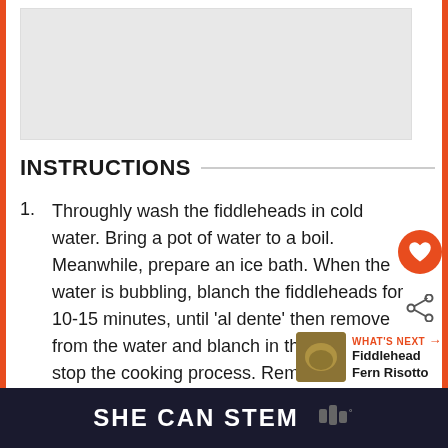[Figure (photo): Light grey placeholder image area at top of page]
INSTRUCTIONS
Throughly wash the fiddleheads in cold water. Bring a pot of water to a boil. Meanwhile, prepare an ice bath. When the water is bubbling, blanch the fiddleheads for 10-15 minutes, until 'al dente' then remove from the water and blanch in the ice bath to stop the cooking process. Remove the fiddleheads from the ice bath and pat
WHAT'S NEXT → Fiddlehead Fern Risotto
SHE CAN STEM